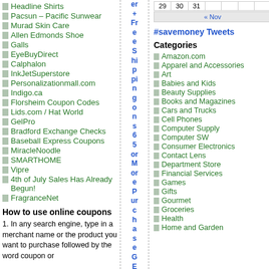Headline Shirts
Pacsun – Pacific Sunwear
Murad Skin Care
Allen Edmonds Shoe
Galls
EyeBuyDirect
Calphalon
InkJetSuperstore
Personalizationmall.com
Indigo.ca
Florsheim Coupon Codes
Lids.com / Hat World
GelPro
Bradford Exchange Checks
Baseball Express Coupons
MiracleNoodle
SMARTHOME
Vipre
4th of July Sales Has Already Begun!
FragranceNet
How to use online coupons
1. In any search engine, type in a merchant name or the product you want to purchase followed by the word coupon or
er + Free Shipping on 65 or More Purchase GET
| 29 | 30 | 31 |  |  |  |  |
|  |  |  |  |
« Nov
#savemoney Tweets
Categories
Amazon.com
Apparel and Accessories
Art
Babies and Kids
Beauty Supplies
Books and Magazines
Cars and Trucks
Cell Phones
Computer Supply
Computer SW
Consumer Electronics
Contact Lens
Department Store
Financial Services
Games
Gifts
Gourmet
Groceries
Health
Home and Garden